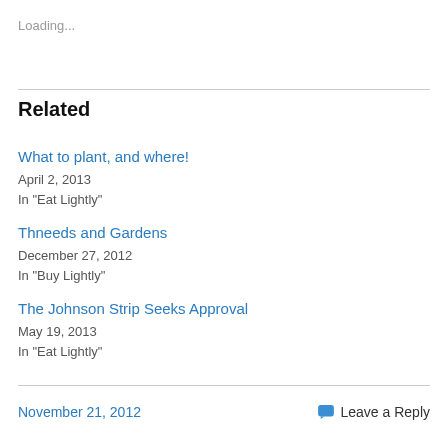Loading...
Related
What to plant, and where!
April 2, 2013
In "Eat Lightly"
Thneeds and Gardens
December 27, 2012
In "Buy Lightly"
The Johnson Strip Seeks Approval
May 19, 2013
In "Eat Lightly"
November 21, 2012    Leave a Reply